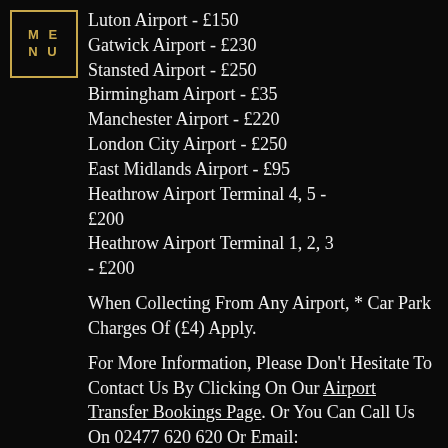MENU
Luton Airport - £150
Gatwick Airport - £230
Stansted Airport - £250
Birmingham Airport - £35
Manchester Airport - £220
London City Airport - £250
East Midlands Airport - £95
Heathrow Airport Terminal 4, 5 - £200
Heathrow Airport Terminal 1, 2, 3 - £200
When Collecting From Any Airport, * Car Park Charges Of (£4) Apply.
For More Information, Please Don't Hesitate To Contact Us By Clicking On Our Airport Transfer Bookings Page. Or You Can Call Us On 02477 620 620 Or Email: